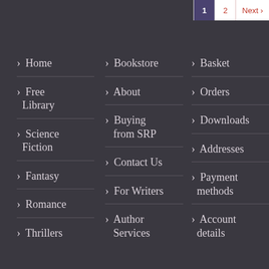1  2  Next >
> Home
> Free Library
> Science Fiction
> Fantasy
> Romance
> Thrillers
> Bookstore
> About
> Buying from SRP
> Contact Us
> For Writers
> Author Services
> Basket
> Orders
> Downloads
> Addresses
> Payment methods
> Account details